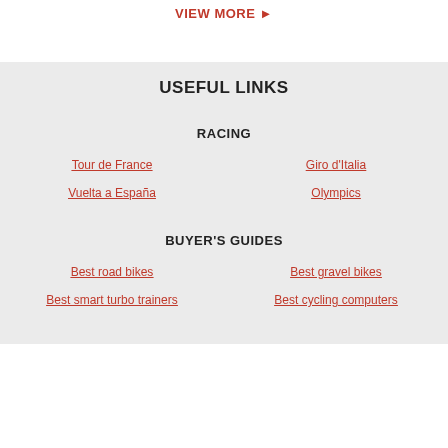VIEW MORE ►
USEFUL LINKS
RACING
Tour de France
Giro d'Italia
Vuelta a España
Olympics
BUYER'S GUIDES
Best road bikes
Best gravel bikes
Best smart turbo trainers
Best cycling computers